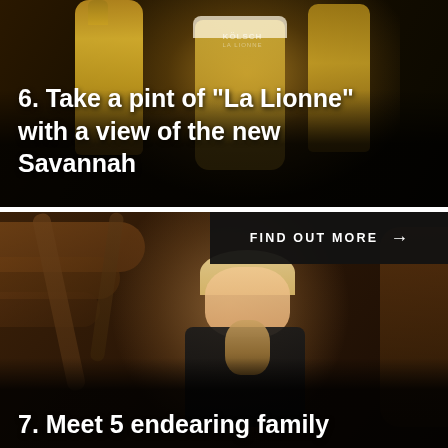[Figure (photo): Photo of beer bottles and a glass of golden beer (Kölsch La Lionne) on a dark table with a dark background]
6. Take a pint of "La Lionne" with a view of the new Savannah
[Figure (photo): Photo of a smiling blonde woman with a small monkey (squirrel monkey) on her shoulder, set in a wooden/rustic zoo environment]
FIND OUT MORE →
7. Meet 5 endearing family